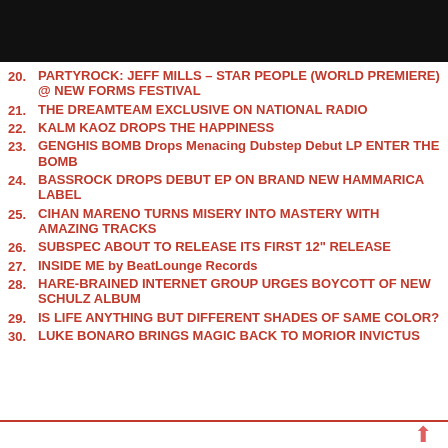Navigation bar with home, menu, and search icons
20. PARTYROCK: JEFF MILLS – STAR PEOPLE (WORLD PREMIERE) @ NEW FORMS FESTIVAL
21. THE DREAMTEAM EXCLUSIVE ON NATIONAL RADIO
22. KALM KAOZ DROPS THE HAPPINESS
23. GENGHIS BOMB Drops Menacing Dubstep Debut LP ENTER THE BOMB
24. BASSROCK DROPS DEBUT EP ON BRAND NEW HAMMARICA LABEL
25. CIHAN MARENO TURNS MISERY INTO MASTERY WITH AMAZING TRACKS
26. SUBSPEC ABOUT TO RELEASE ITS FIRST 12" RELEASE
27. INSIDE ME by BeatLounge Records
28. HARE-BRAINED INTERNET GROUP URGES BOYCOTT OF NEW SCHULZ ALBUM
29. IS LIFE ANYTHING BUT DIFFERENT SHADES OF SAME COLOR?
30. LUKE BONARO BRINGS MAGIC BACK TO MORIOR INVICTUS